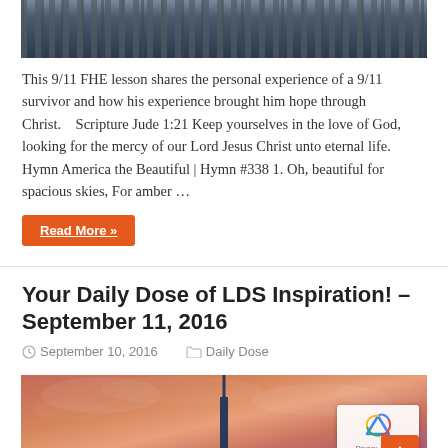[Figure (photo): Top portion of a cityscape photo showing tall skyscrapers/buildings — appears to be a New York City skyline, cropped to show just the upper section of buildings against a dark sky.]
This 9/11 FHE lesson shares the personal experience of a 9/11 survivor and how his experience brought him hope through Christ.    Scripture Jude 1:21 Keep yourselves in the love of God, looking for the mercy of our Lord Jesus Christ unto eternal life. Hymn America the Beautiful | Hymn #338 1. Oh, beautiful for spacious skies, For amber …
Read More »
Your Daily Dose of LDS Inspiration! – September 11, 2016
September 10, 2016   Daily Dose
[Figure (photo): Bottom portion of a photo showing a tall tower (likely One World Trade Center) silhouetted against a dramatic pink and purple sunset/dusk sky with clouds visible.]